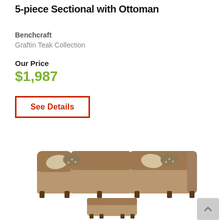5-piece Sectional with Ottoman
Benchcraft
Graftin Teak Collection
Our Price
$1,987
See Details
[Figure (photo): A 5-piece sectional sofa set in teak/brown upholstery with decorative pillows, arranged in an L-shape with a separate square ottoman below.]